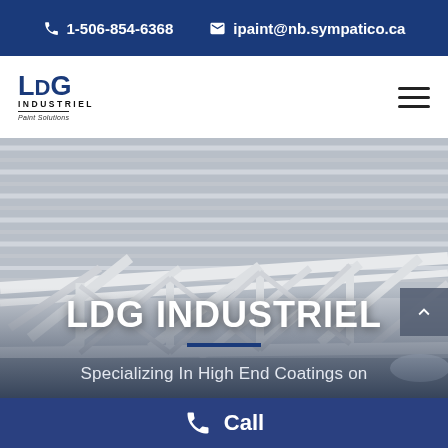1-506-854-6368   ipaint@nb.sympatico.ca
[Figure (logo): LDG Industriel Paint Solutions logo — LDG in bold blue letters, INDUSTRIEL in uppercase, Paint Solutions in italic below a horizontal rule]
[Figure (photo): Interior of an industrial building showing white painted steel roof trusses and corrugated metal roofing panels, photographed from below]
LDG INDUSTRIEL
Specializing In High End Coatings on
Call